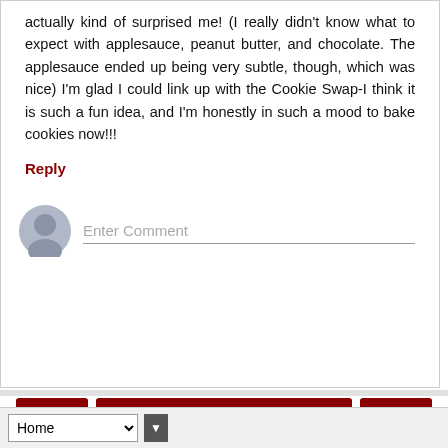actually kind of surprised me! (I really didn't know what to expect with applesauce, peanut butter, and chocolate. The applesauce ended up being very subtle, though, which was nice) I'm glad I could link up with the Cookie Swap-I think it is such a fun idea, and I'm honestly in such a mood to bake cookies now!!!
Reply
Enter Comment
Home
View web version
Home